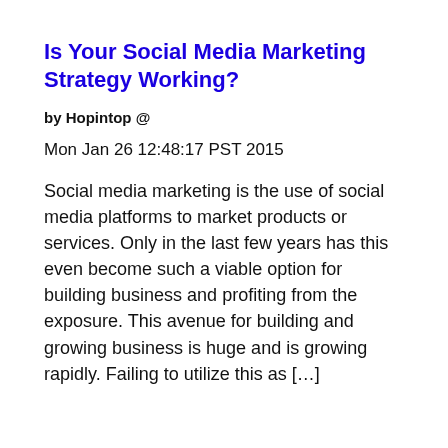Is Your Social Media Marketing Strategy Working?
by Hopintop @
Mon Jan 26 12:48:17 PST 2015
Social media marketing is the use of social media platforms to market products or services. Only in the last few years has this even become such a viable option for building business and profiting from the exposure. This avenue for building and growing business is huge and is growing rapidly. Failing to utilize this as […]